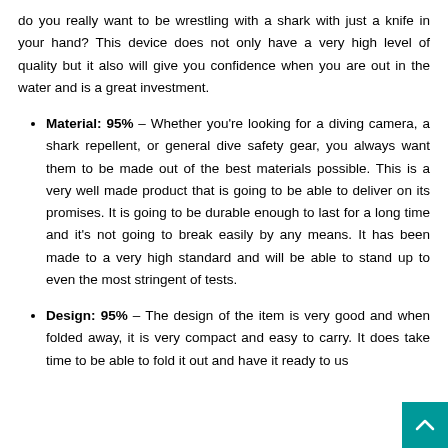do you really want to be wrestling with a shark with just a knife in your hand? This device does not only have a very high level of quality but it also will give you confidence when you are out in the water and is a great investment.
Material: 95% – Whether you're looking for a diving camera, a shark repellent, or general dive safety gear, you always want them to be made out of the best materials possible. This is a very well made product that is going to be able to deliver on its promises. It is going to be durable enough to last for a long time and it's not going to break easily by any means. It has been made to a very high standard and will be able to stand up to even the most stringent of tests.
Design: 95% – The design of the item is very good and when folded away, it is very compact and easy to carry. It does take time to be able to fold it out and have it ready to us...